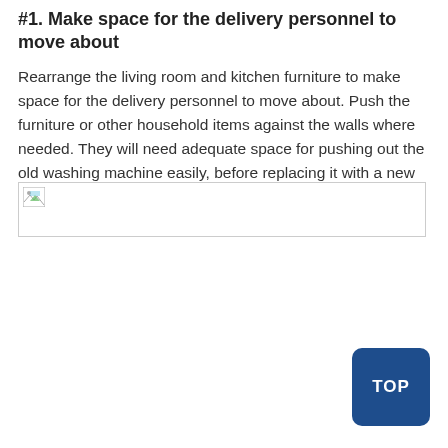#1. Make space for the delivery personnel to move about
Rearrange the living room and kitchen furniture to make space for the delivery personnel to move about. Push the furniture or other household items against the walls where needed. They will need adequate space for pushing out the old washing machine easily, before replacing it with a new one.
[Figure (photo): Broken image placeholder — image failed to load]
TOP